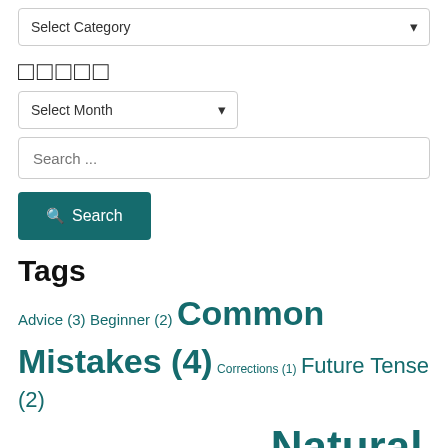[Figure (screenshot): A dropdown UI element labeled 'Select Category' with a down-arrow chevron on the right.]
□□□□□
[Figure (screenshot): A dropdown UI element labeled 'Select Month' with a down-arrow chevron on the right.]
[Figure (screenshot): A search input field with placeholder text 'Search ...']
[Figure (screenshot): A teal 'Search' button with a magnifying glass icon.]
Tags
Advice (3) Beginner (2) Common Mistakes (4) Corrections (1) Future Tense (2) Grammar (1) Intermediate (1) introductions (1) Natural English (5) Past Tense (2) Polite (1) Prepositions (1) Teacher's Diary (4) tips (4) vocabulary (1)